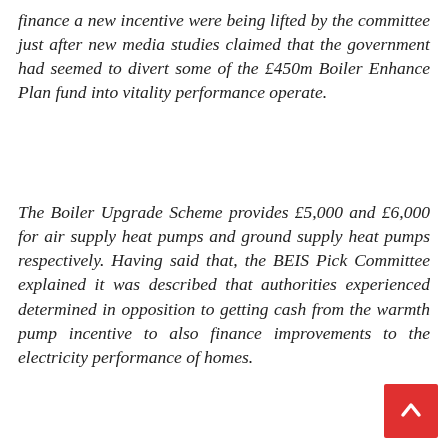finance a new incentive were being lifted by the committee just after new media studies claimed that the government had seemed to divert some of the £450m Boiler Enhance Plan fund into vitality performance operate.
The Boiler Upgrade Scheme provides £5,000 and £6,000 for air supply heat pumps and ground supply heat pumps respectively. Having said that, the BEIS Pick Committee explained it was described that authorities experienced determined in opposition to getting cash from the warmth pump incentive to also finance improvements to the electricity performance of homes.